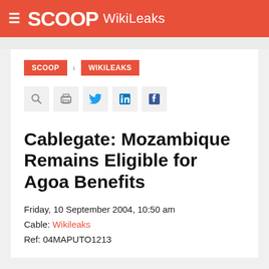SCOOP WikiLeaks
SCOOP > WIKILEAKS
Cablegate: Mozambique Remains Eligible for Agoa Benefits
Friday, 10 September 2004, 10:50 am
Cable: Wikileaks
Ref: 04MAPUTO1213